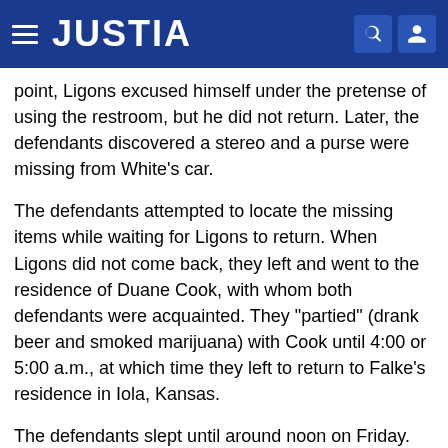JUSTIA
point, Ligons excused himself under the pretense of using the restroom, but he did not return. Later, the defendants discovered a stereo and a purse were missing from White's car.
The defendants attempted to locate the missing items while waiting for Ligons to return. When Ligons did not come back, they left and went to the residence of Duane Cook, with whom both defendants were acquainted. They "partied" (drank beer and smoked marijuana) with Cook until 4:00 or 5:00 a.m., at which time they left to return to Falke's residence in Iola, Kansas.
The defendants slept until around noon on Friday. When they awakened, they told Falke's roommate, Roy Culbertson, about the theft and their belief that Freddy Ligons had committed it. Falke borrowed a .22-caliber pistol from Culbertson, explaining that he wanted to use